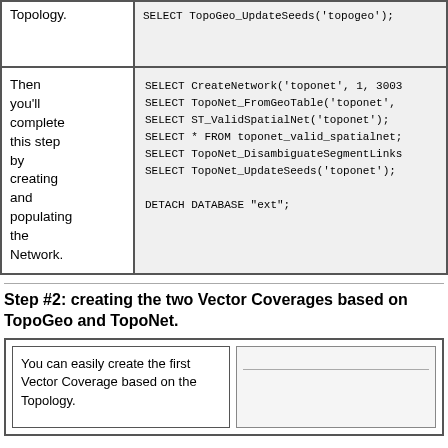| Description | Code |
| --- | --- |
| Topology. | SELECT TopoGeo_UpdateSeeds('topogeo'); |
| Then you'll complete this step by creating and populating the Network. | SELECT CreateNetwork('toponet', 1, 3003
SELECT TopoNet_FromGeoTable('toponet',
SELECT ST_ValidSpatialNet('toponet');
SELECT * FROM toponet_valid_spatialnet;
SELECT TopoNet_DisambiguateSegmentLinks
SELECT TopoNet_UpdateSeeds('toponet');

DETACH DATABASE "ext"; |
Step #2: creating the two Vector Coverages based on TopoGeo and TopoNet.
| Description | Code |
| --- | --- |
| You can easily create the first Vector Coverage based on the Topology. |  |